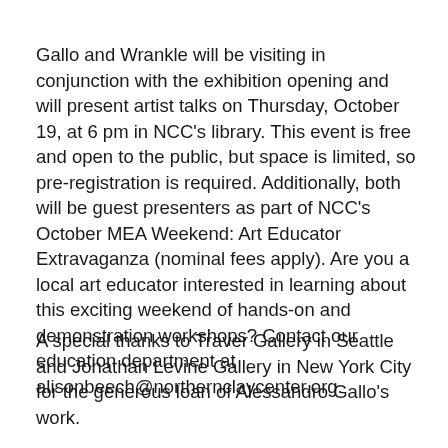Gallo and Wrankle will be visiting in conjunction with the exhibition opening and will present artist talks on Thursday, October 19, at 6 pm in NCC's library. This event is free and open to the public, but space is limited, so pre-registration is required. Additionally, both will be guest presenters as part of NCC's October MEA Weekend: Art Educator Extravaganza (nominal fees apply). Are you a local art educator interested in learning about this exciting weekend of hands-on and demonstration workshops? Contact our education department at alisonbeech@northernclaycenter.org.
A special thanks to Traver Gallery in Seattle and Jonathan Levine Gallery in New York City for the generous loan of Alessandro Gallo's work.